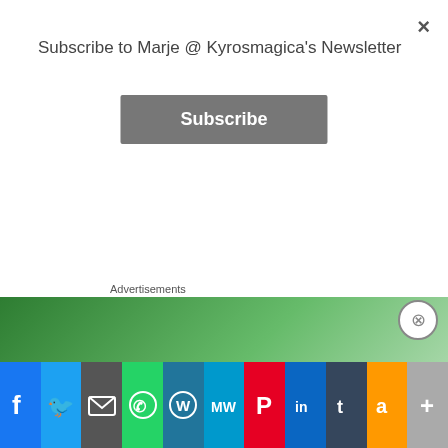Subscribe to Marje @ Kyrosmagica's Newsletter
Subscribe
Perhaps Lockdown has some positives – we are definitely spending more time together as a family, chatting more and sharing our thoughts.
But we will have to be careful not to drink and eat too much! Or, I for one will be putting on too much weight.
Also, another source of piling on the pounds
Advertisements
[Figure (infographic): Green advertisement banner]
[Figure (infographic): Social sharing buttons bar: Facebook, Twitter, Email, WhatsApp, WordPress, MeWe, Pinterest, LinkedIn, Tumblr, Amazon, More]